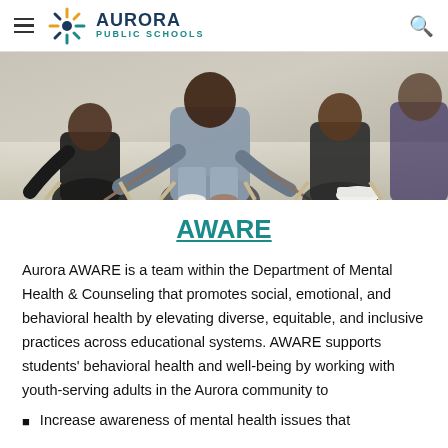Aurora Public Schools
[Figure (photo): Photo of people seated in a circle, some holding drumsticks, in a group activity or drumming session.]
AWARE
Aurora AWARE is a team within the Department of Mental Health & Counseling that promotes social, emotional, and behavioral health by elevating diverse, equitable, and inclusive practices across educational systems. AWARE supports students' behavioral health and well-being by working with youth-serving adults in the Aurora community to
Increase awareness of mental health issues that